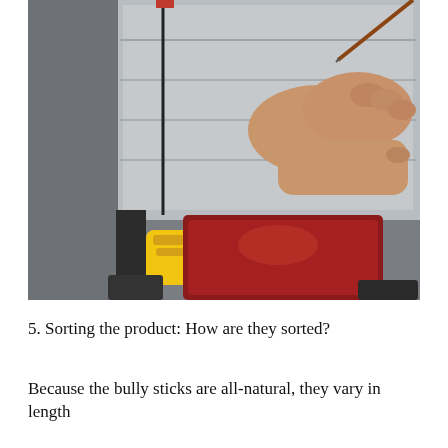[Figure (photo): A person's hands operating what appears to be a band saw or cutting machine with a metal table/fence. Below the table is visible a yellow and red safety switch/control. The machine appears to be industrial equipment in a workshop setting.]
5. Sorting the product: How are they sorted?
Because the bully sticks are all-natural, they vary in length and thickness, requiring them to fill...